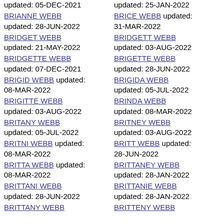BRIANNE WEBB updated: 28-JUN-2022
BRIDGET WEBB updated: 21-MAY-2022
BRIDGETTE WEBB updated: 07-DEC-2021
BRIGID WEBB updated: 08-MAR-2022
BRIGITTE WEBB updated: 03-AUG-2022
BRITANY WEBB updated: 05-JUL-2022
BRITNI WEBB updated: 08-MAR-2022
BRITTA WEBB updated: 08-MAR-2022
BRITTANI WEBB updated: 28-JUN-2022
BRITTANY WEBB
BRICE WEBB updated: 31-MAR-2022
BRIDGETT WEBB updated: 03-AUG-2022
BRIGETTE WEBB updated: 28-JUN-2022
BRIGIDA WEBB updated: 05-JUL-2022
BRINDA WEBB updated: 08-MAR-2022
BRITNEY WEBB updated: 03-AUG-2022
BRITT WEBB updated: 28-JUN-2022
BRITTANEY WEBB updated: 28-JAN-2022
BRITTANIE WEBB updated: 28-JAN-2022
BRITTENY WEBB